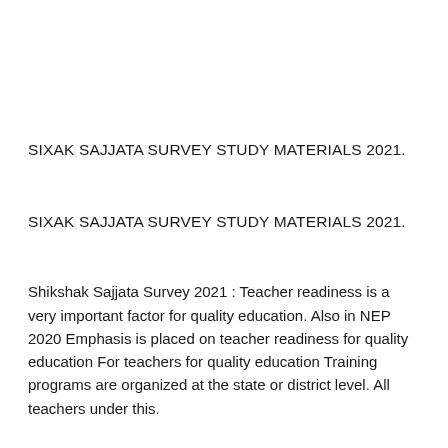SIXAK SAJJATA SURVEY STUDY MATERIALS 2021.
SIXAK SAJJATA SURVEY STUDY MATERIALS 2021.
Shikshak Sajjata Survey 2021 : Teacher readiness is a very important factor for quality education. Also in NEP 2020 Emphasis is placed on teacher readiness for quality education For teachers for quality education Training programs are organized at the state or district level. All teachers under this.